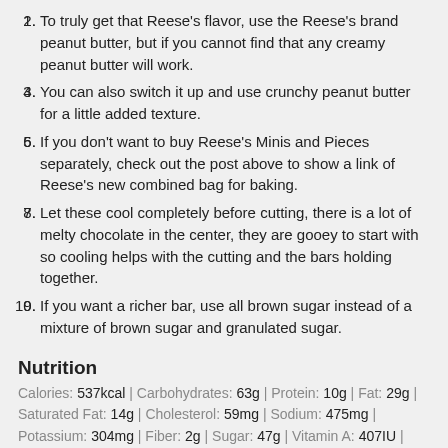To truly get that Reese's flavor, use the Reese's brand peanut butter, but if you cannot find that any creamy peanut butter will work.
You can also switch it up and use crunchy peanut butter for a little added texture.
If you don't want to buy Reese's Minis and Pieces separately, check out the post above to show a link of Reese's new combined bag for baking.
Let these cool completely before cutting, there is a lot of melty chocolate in the center, they are gooey to start with so cooling helps with the cutting and the bars holding together.
If you want a richer bar, use all brown sugar instead of a mixture of brown sugar and granulated sugar.
Nutrition
Calories: 537kcal | Carbohydrates: 63g | Protein: 10g | Fat: 29g | Saturated Fat: 14g | Cholesterol: 59mg | Sodium: 475mg | Potassium: 304mg | Fiber: 2g | Sugar: 47g | Vitamin A: 407IU | Vitamin C: 1mg | Calcium: 77mg | Iron: 2mg